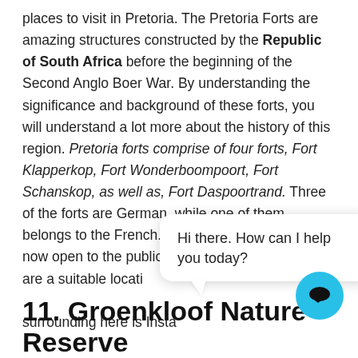places to visit in Pretoria. The Pretoria Forts are amazing structures constructed by the Republic of South Africa before the beginning of the Second Anglo Boer War. By understanding the significance and background of these forts, you will understand a lot more about the history of this region. Pretoria forts comprise of four forts, Fort Klapperkop, Fort Wonderboompoort, Fort Schanskop, as well as, Fort Daspoortrand. Three of the forts are German, while one of them belongs to the French. Nowadays, all the first are now open to the public to visit. The Pretoria Forts are a suitable locati... surrounding here is Insta... liked Instagram photos.
[Figure (screenshot): Chat widget popup with message: Hi there. How can I help you today? and a circular chat button icon below.]
11. Groenkloof Nature Reserve